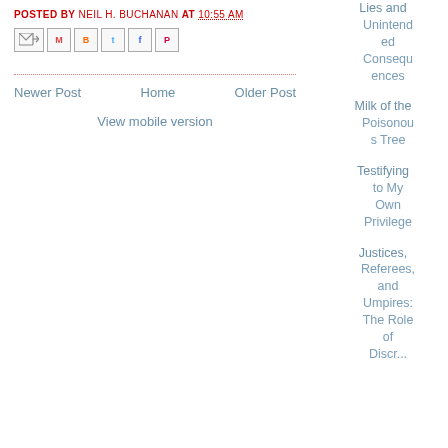POSTED BY NEIL H. BUCHANAN AT 10:55 AM
[Figure (other): Share/email icons row: email-forward, Gmail, Blogger, Twitter, Facebook, Pinterest]
Newer Post | Home | Older Post
View mobile version
Lies and Unintended Consequences
Milk of the Poisonous Tree
Testifying to My Own Privilege
Justices, Referees, and Umpires: The Role of Discr...